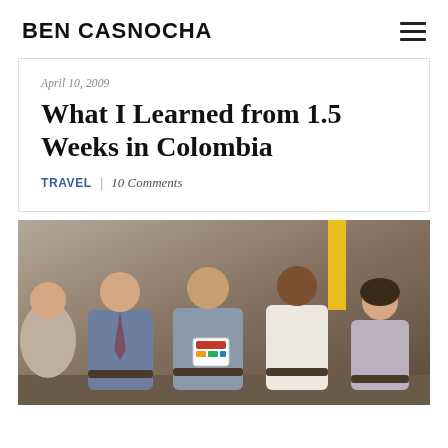BEN CASNOCHA
April 10, 2009
What I Learned from 1.5 Weeks in Colombia
TRAVEL | 10 Comments
[Figure (photo): Conference panel photo showing four people seated, with a Colombian flag visible in background. A man in center holds a small sign/placard. Photo taken indoors at what appears to be a formal event.]